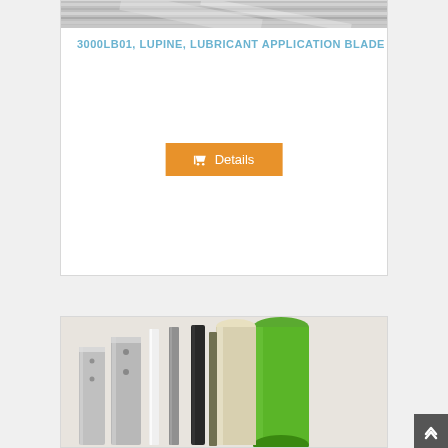[Figure (photo): Close-up photo of metallic lubricant application blades, silver/grey elongated flat strips arranged diagonally]
3000LB01, LUPINE, LUBRICANT APPLICATION BLADE
[Figure (other): Orange Details button with shopping cart icon]
[Figure (photo): Photo of multiple cylindrical and flat blade components including a green metallic cylinder, white rod, and various grey/black flat blades arranged diagonally on a light background]